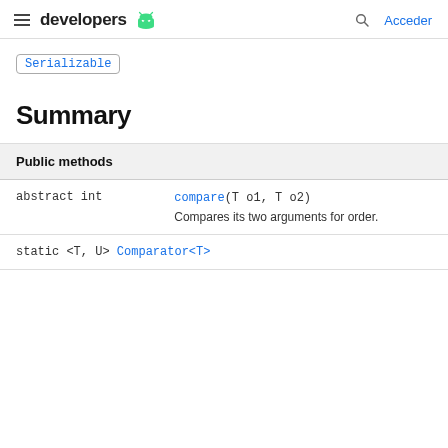developers | Acceder
Serializable
Summary
| Public methods |
| --- |
| abstract int | compare(T o1, T o2)
Compares its two arguments for order. |
| static <T, U> Comparator<T> |  |